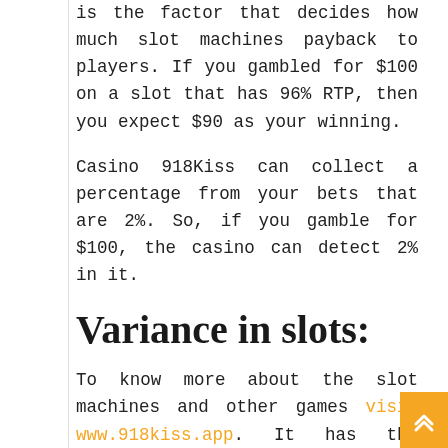is the factor that decides how much slot machines payback to players. If you gambled for $100 on a slot that has 96% RTP, then you expect $90 as your winning.
Casino 918Kiss can collect a percentage from your bets that are 2%. So, if you gamble for $100, the casino can detect 2% in it.
Variance in slots:
To know more about the slot machines and other games visit www.918kiss.app. It has the potential for winning large prizes. Also called volatility or pay-out frequency.